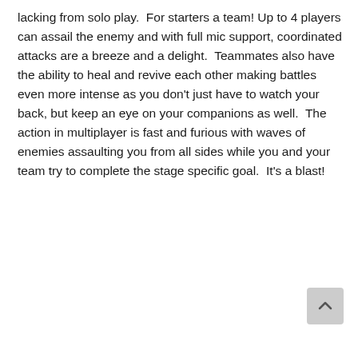lacking from solo play.  For starters a team! Up to 4 players can assail the enemy and with full mic support, coordinated attacks are a breeze and a delight.  Teammates also have the ability to heal and revive each other making battles even more intense as you don't just have to watch your back, but keep an eye on your companions as well.  The action in multiplayer is fast and furious with waves of enemies assaulting you from all sides while you and your team try to complete the stage specific goal.  It's a blast!
[Figure (other): Scroll-to-top button (grey rounded rectangle with upward chevron arrow)]